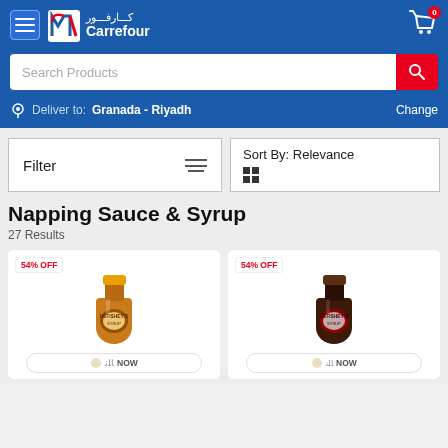[Figure (screenshot): Carrefour e-commerce website header with logo, Arabic text, hamburger menu, and cart icon with badge showing 0]
Search Products
Deliver to: Granada - Riyadh  Change
Filter
Sort By: Relevance
Napping Sauce & Syrup
27 Results
[Figure (photo): Hershey's caramel syrup bottle with 54% OFF badge and NOW delivery button]
[Figure (photo): Hershey's chocolate syrup bottle with 54% OFF badge and NOW delivery button]